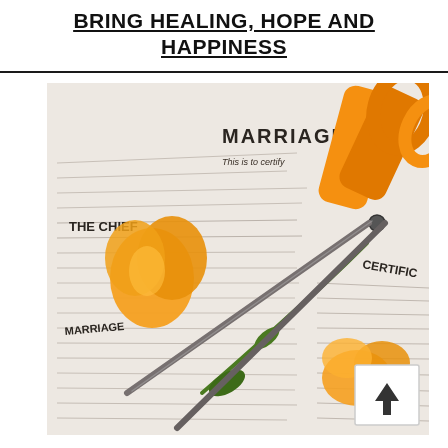BRING HEALING, HOPE AND HAPPINESS
[Figure (photo): Orange scissors cutting a marriage certificate, with orange rose petals and a flower stem scattered on the document. The certificate shows partial text including 'MARRIAGE', 'This is to certify', 'THE CHIEF', 'MARRIAGE', 'CERTIFIC'. A scroll-to-top button (arrow up) is visible in the bottom-right corner of the image.]